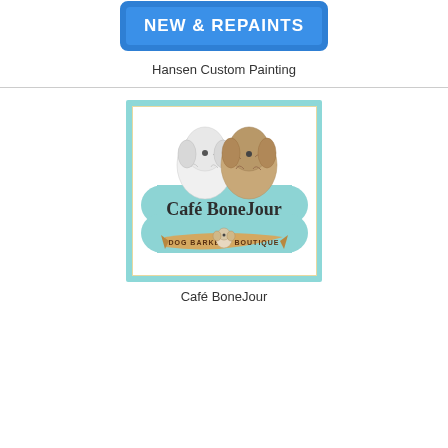[Figure (logo): Hansen Custom Painting banner: blue rounded rectangle with white bold text 'NEW & REPAINTS']
Hansen Custom Painting
[Figure (logo): Café BoneJour dog barkery boutique logo: light teal square border, white inner square with cream/gold border, two illustrated dogs (white fluffy and tan curly) above a large teal bone shape with 'Café BoneJour' in bold serif text, banner below reading 'DOG BARKERY BOUTIQUE' with small Shih Tzu dog illustration]
Café BoneJour